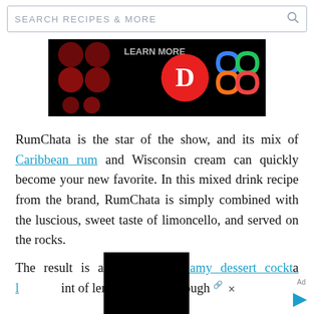SEARCH RECIPES & MORE
[Figure (photo): Dark advertisement banner showing colorful logos including a red circle with 'D' letter and a multicolored chain-link pattern on black background]
RumChata is the star of the show, and its mix of Caribbean rum and Wisconsin cream can quickly become your new favorite. In this mixed drink recipe from the brand, RumChata is simply combined with the luscious, sweet taste of limoncello, and served on the rocks.
The result is a delightful, creamy dessert cocktail [obscured] int of lemon and just enough
[Figure (photo): Black obscuring overlay block covering part of the text and advertisement at the bottom of the page]